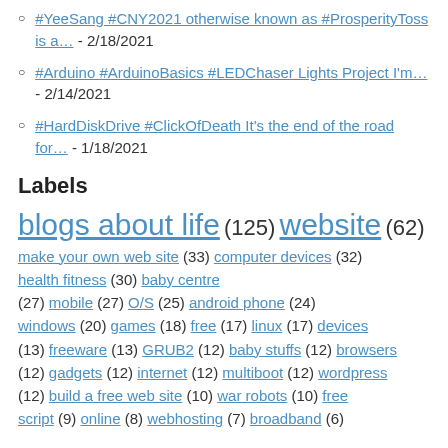#YeeSang #CNY2021 otherwise known as #ProsperityToss is a… - 2/18/2021
#Arduino #ArduinoBasics #LEDChaser Lights Project I'm… - 2/14/2021
#HardDiskDrive #ClickOfDeath It's the end of the road for… - 1/18/2021
Labels
blogs about life (125) website (62) make your own web site (33) computer devices (32) health fitness (30) baby centre (27) mobile (27) O/S (25) android phone (24) windows (20) games (18) free (17) linux (17) devices (13) freeware (13) GRUB2 (12) baby stuffs (12) browsers (12) gadgets (12) internet (12) multiboot (12) wordpress (12) build a free web site (10) war robots (10) free script (9) online (8) webhosting (7) broadband (6)